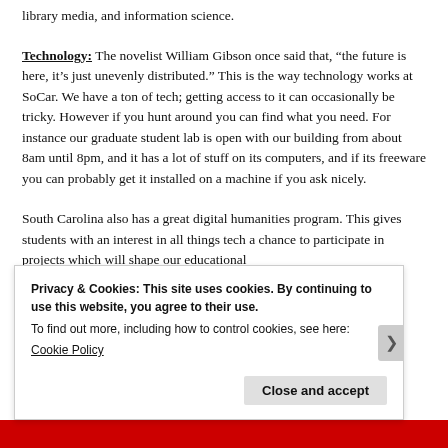library media, and information science.
Technology: The novelist William Gibson once said that, “the future is here, it’s just unevenly distributed.” This is the way technology works at SoCar. We have a ton of tech; getting access to it can occasionally be tricky. However if you hunt around you can find what you need. For instance our graduate student lab is open with our building from about 8am until 8pm, and it has a lot of stuff on its computers, and if its freeware you can probably get it installed on a machine if you ask nicely.
South Carolina also has a great digital humanities program. This gives students with an interest in all things tech a chance to participate in projects which will shape our educational
Privacy & Cookies: This site uses cookies. By continuing to use this website, you agree to their use.
To find out more, including how to control cookies, see here:
Cookie Policy
Close and accept